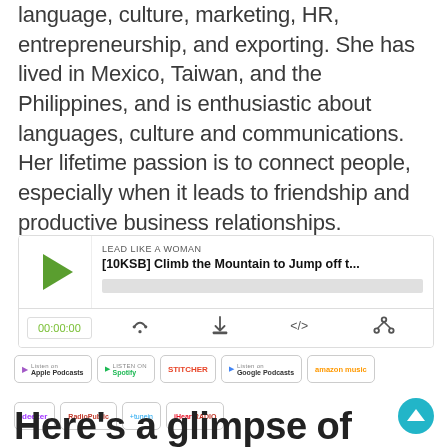language, culture, marketing, HR, entrepreneurship, and exporting. She has lived in Mexico, Taiwan, and the Philippines, and is enthusiastic about languages, culture and communications. Her lifetime passion is to connect people, especially when it leads to friendship and productive business relationships.
[Figure (screenshot): Podcast player widget showing 'LEAD LIKE A WOMAN' show with episode '[10KSB] Climb the Mountain to Jump off t...' with play button, progress bar, time display 00:00:00, and control icons for RSS, download, embed, and share]
[Figure (infographic): Row of podcast platform badges: Apple Podcasts, Spotify, Stitcher, Google Podcasts, Amazon Music]
[Figure (infographic): Row of podcast platform badges: Deezer, RadioPublic, TuneIn, iHeartRadio, and a teal scroll-to-top button]
Here's a glimpse of